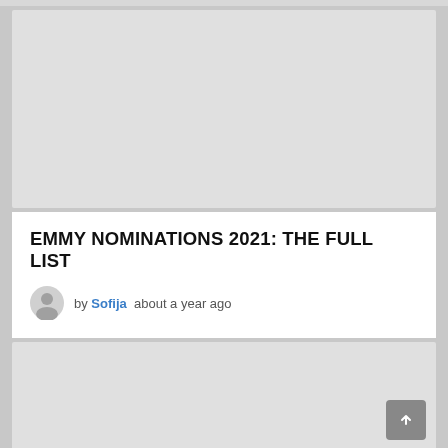[Figure (other): Gray placeholder image block at top of article card]
EMMY NOMINATIONS 2021: THE FULL LIST
by Sofija  about a year ago
[Figure (other): Gray placeholder image block at bottom, with back-to-top arrow button]